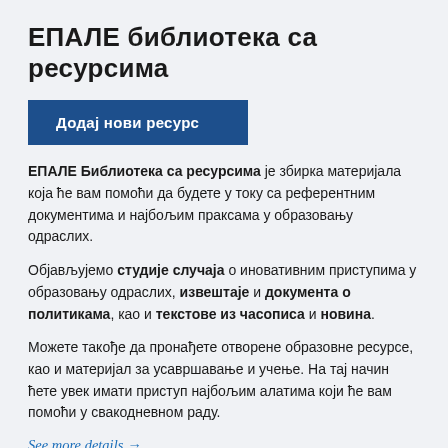ЕПАЛЕ библиотека са ресурсима
Додај нови ресурс
ЕПАЛЕ Библиотека са ресурсима је збирка материјала која ће вам помоћи да будете у току са референтним документима и најбољим праксама у образовању одраслих.
Објављујемо студије случаја о иновативним приступима у образовању одраслих, извештаје и документа о политикама, као и текстове из часописа и новина.
Можете такође да пронађете отворене образовне ресурсе, као и материјал за усавршавање и учење. На тај начин ћете увек имати приступ најбољим алатима који ће вам помоћи у свакодневном раду.
See more details →